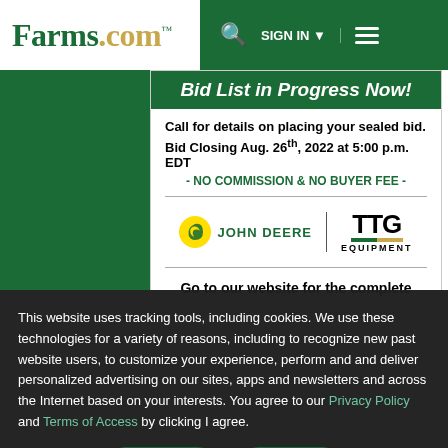Farms.com | SIGN IN | Navigation
[Figure (screenshot): Farms.com website header with green navigation bar showing logo, search icon, SIGN IN button, and hamburger menu]
Bid List in Progress Now!
Call for details on placing your sealed bid. Bid Closing Aug. 26th, 2022 at 5:00 p.m. EDT - NO COMMISSION & NO BUYER FEE -
[Figure (logo): John Deere logo and TTG Equipment logo side by side]
Go to our website for the complete...
This website uses tracking tools, including cookies. We use these technologies for a variety of reasons, including to recognize past website users, to customize your experience, perform analytics and deliver personalized advertising on our sites, apps and newsletters and across the Internet based on your interests. You agree to our Privacy Policy and Terms of Access by clicking I agree.